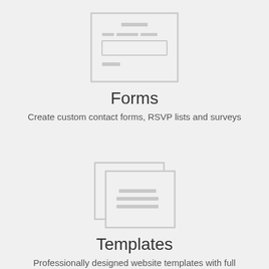[Figure (illustration): Gray wireframe icon of a web form with a title bar, two label lines, a text input box, and a submit button area]
Forms
Create custom contact forms, RSVP lists and surveys
[Figure (illustration): Gray wireframe icon of two overlapping document/template pages with text lines on them]
Templates
Professionally designed website templates with full